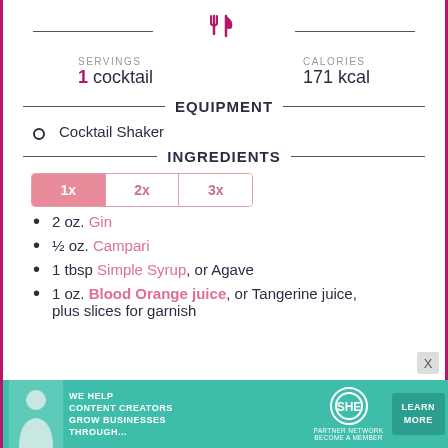[Figure (illustration): Fork and knife crossed icon in pink/magenta color, centered at top with horizontal lines on either side]
SERVINGS
1 cocktail
CALORIES
171 kcal
EQUIPMENT
Cocktail Shaker
INGREDIENTS
[Figure (other): Multiplier buttons: 1x (active/filled pink), 2x, 3x]
2 oz. Gin
½ oz. Campari
1 tbsp Simple Syrup, or Agave
1 oz. Blood Orange juice, or Tangerine juice, plus slices for garnish
[Figure (other): Advertisement banner: SHE Media Partner Network - We help content creators grow businesses through... Learn More]